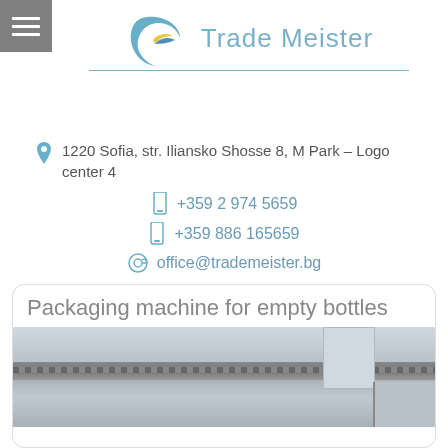[Figure (logo): Trade Meister logo with blue crescent/bird graphic and blue text]
1220 Sofia, str. Iliansko Shosse 8, M Park – Logo center 4
+359 2 974 5659
+359 886 165659
office@trademeister.bg
[Figure (logo): YouTube and LinkedIn social media icon buttons]
Packaging machine for empty bottles
[Figure (photo): Photo of a packaging machine for empty bottles showing metal rails and industrial machinery]